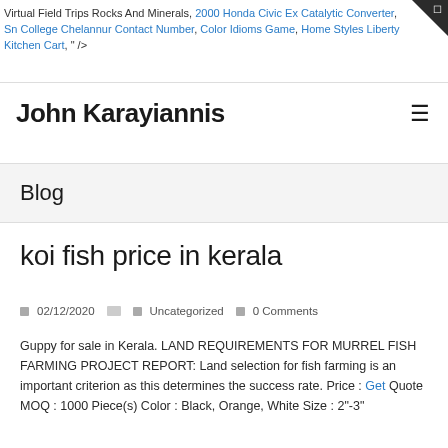Virtual Field Trips Rocks And Minerals, 2000 Honda Civic Ex Catalytic Converter, Sn College Chelannur Contact Number, Color Idioms Game, Home Styles Liberty Kitchen Cart, " />
John Karayiannis
Blog
koi fish price in kerala
02/12/2020   Uncategorized  0 Comments
Guppy for sale in Kerala. LAND REQUIREMENTS FOR MURREL FISH FARMING PROJECT REPORT: Land selection for fish farming is an important criterion as this determines the success rate. Price : Get Quote MOQ : 1000 Piece(s) Color : Black, Orange, White Size : 2"-3"